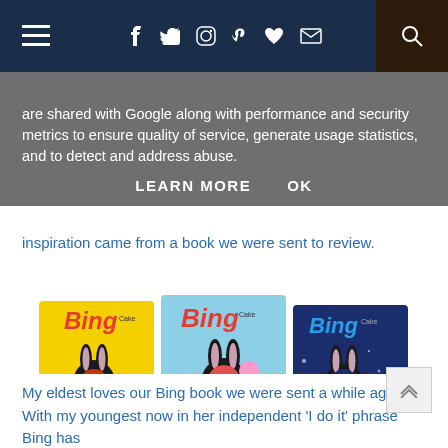Navigation bar with hamburger menu, social icons (facebook, twitter, instagram, pinterest, heart, mail), and search
and to analyse traffic. Your IP address and user agent are shared with Google along with performance and security metrics to ensure quality of service, generate usage statistics, and to detect and address abuse.
LEARN MORE   OK
inspiration came from a book we were sent to review.
[Figure (photo): Three Bing children's books displayed side by side: a yellow book, a light blue book titled 'Something for Daddy', and a dark blue book titled 'Bed Time', all featuring the Bing bunny character]
My eldest loves our Bing book we were sent a while ago. With my youngest now in her independent 'I do it' phrase Bing has